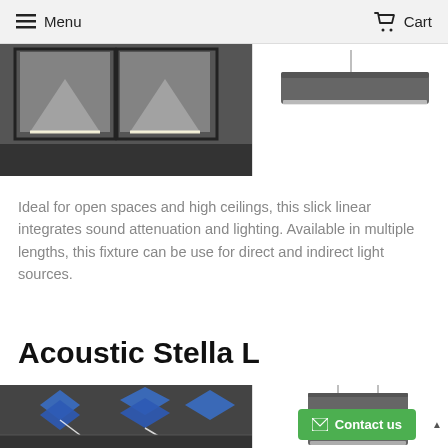Menu   Cart
[Figure (photo): Ceiling installation photo showing linear acoustic lighting fixtures mounted overhead in a dark space]
[Figure (photo): Product photo of a dark gray rectangular acoustic linear pendant light fixture on white background]
Ideal for open spaces and high ceilings, this slick linear integrates sound attenuation and lighting. Available in multiple lengths, this fixture can be use for direct and indirect light sources.
Acoustic Stella L
[Figure (photo): Installation photo showing blue star-shaped acoustic panels installed on a ceiling in a commercial space]
[Figure (photo): Product photo of a tall gray rectangular acoustic panel pendant on white background]